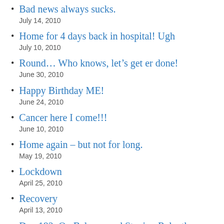Bad news always sucks.
Home for 4 days back in hospital! Ugh
Round… Who knows, let’s get er done!
Happy Birthday ME!
Cancer here I come!!!
Home again – but not for long.
Lockdown
Recovery
Day 182: On Balance and Staying Relentless